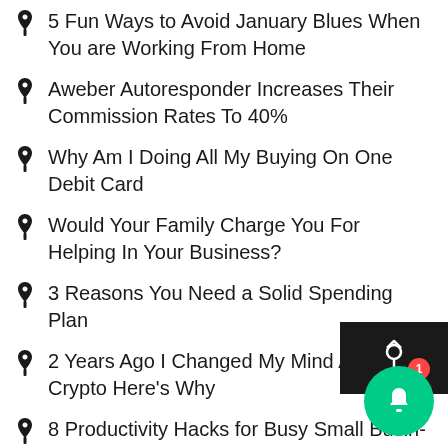5 Fun Ways to Avoid January Blues When You are Working From Home
Aweber Autoresponder Increases Their Commission Rates To 40%
Why Am I Doing All My Buying On One Debit Card
Would Your Family Charge You For Helping In Your Business?
3 Reasons You Need a Solid Spending Plan
2 Years Ago I Changed My Mind About Crypto Here's Why
8 Productivity Hacks for Busy Small Business Owners